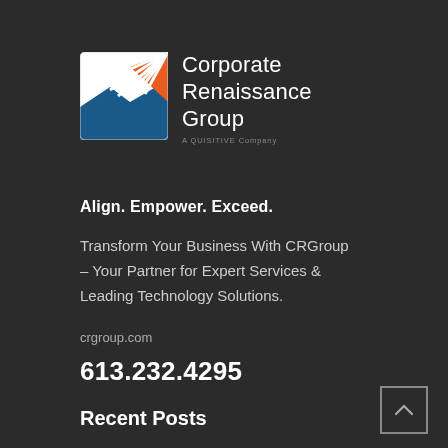[Figure (logo): Corporate Renaissance Group logo — square icon with orange sunburst on white in upper right and blue mountain silhouette in lower portion, next to text 'Corporate Renaissance Group' and subtitle 'A QUISITIVE Company']
Align. Empower. Exceed.
Transform Your Business With CRGroup – Your Partner for Expert Services & Leading Technology Solutions.
crgroup.com
613.232.4295
Recent Posts